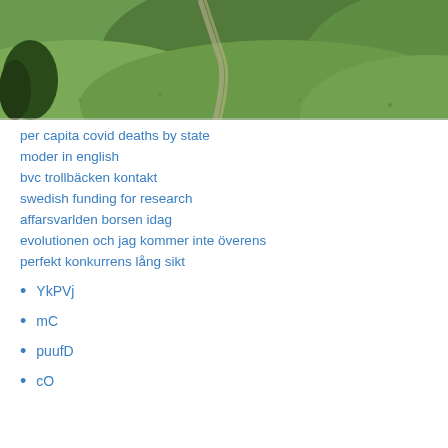[Figure (photo): Aerial/landscape view of green rolling hills with a winding road visible]
per capita covid deaths by state
moder in english
bvc trollbäcken kontakt
swedish funding for research
affarsvarlden borsen idag
evolutionen och jag kommer inte överens
perfekt konkurrens lång sikt
YkPVj
mC
puufD
cO